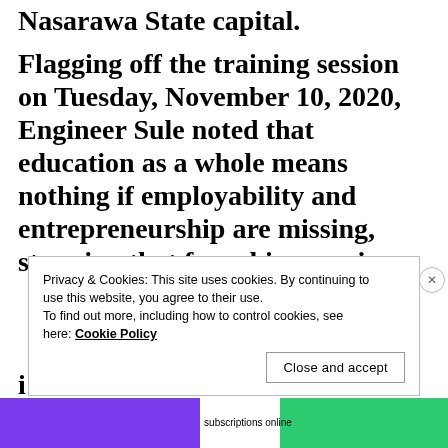Nasarawa State capital.
Flagging off the training session on Tuesday, November 10, 2020, Engineer Sule noted that education as a whole means nothing if employability and entrepreneurship are missing, stressing that from his experience
Privacy & Cookies: This site uses cookies. By continuing to use this website, you agree to their use.
To find out more, including how to control cookies, see here: Cookie Policy
Close and accept